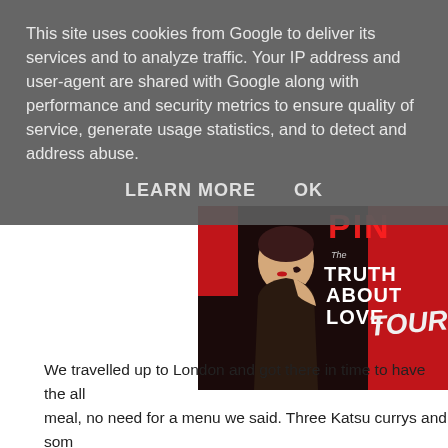This site uses cookies from Google to deliver its services and to analyze traffic. Your IP address and user-agent are shared with Google along with performance and security metrics to ensure quality of service, generate usage statistics, and to detect and address abuse.
LEARN MORE    OK
[Figure (photo): Concert tour promotional image for Pink's 'The Truth About Love Tour', showing a woman in a dark dress against a red and black background with text reading 'The TRUTH ABOUT LOVE TOUR']
We travelled up to London and got there in time to have the all meal, no need for a menu we said. Three Katsu currys and som down a treat, not all for me! and we headed into the venue to fi excitement was building, everyone was buying and wearing the